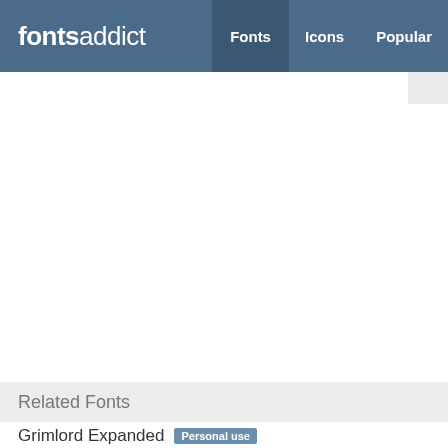fontsaddict — Fonts | Icons | Popular
[Figure (screenshot): Character table showing curly brace open {, pipe |, and curly brace close } with hex codes ff07b, ff07c, ff07d above]
Related Fonts
Grimlord Expanded  Personal use
[Figure (screenshot): Grimlord Expanded font preview showing 'GR1MLORD E' in blocky geometric style]
Fancy > Various
Paralela Regular  Freeware
[Figure (screenshot): Paralela Regular font preview showing 'Paralela Reg' in serif italic style]